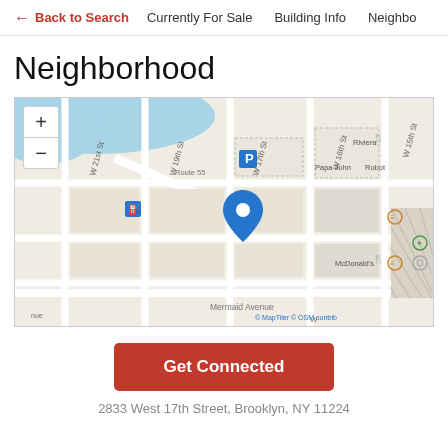← Back to Search   Currently For Sale   Building Info   Neighbo
Neighborhood
[Figure (map): Street map showing location at 2833 West 17th Street, Brooklyn, NY 11224. Map shows surrounding streets including Mermaid Avenue, W 19th St, W 21st St, W 17th St, W 16th St, W 15th St. Notable POIs: Riviera, Papa John, Robot, McDonald's. Blue location pin at property. Map credit: © MapTiler © OSM contrib. Zoom in/out controls visible.]
Get Connected
2833 West 17th Street, Brooklyn, NY 11224